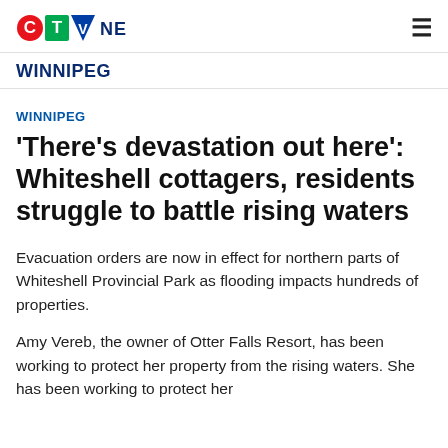CTV News WINNIPEG
WINNIPEG
'There's devastation out here': Whiteshell cottagers, residents struggle to battle rising waters
Evacuation orders are now in effect for northern parts of Whiteshell Provincial Park as flooding impacts hundreds of properties.
Amy Vereb, the owner of Otter Falls Resort, has been working to protect her property from the rising waters. She has been working to protect